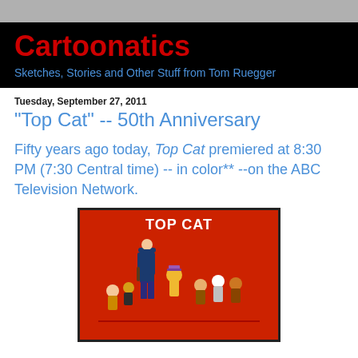Cartoonatics
Sketches, Stories and Other Stuff from Tom Ruegger
Tuesday, September 27, 2011
"Top Cat" -- 50th Anniversary
Fifty years ago today, Top Cat premiered at 8:30 PM (7:30 Central time) -- in color** --on the ABC Television Network.
[Figure (illustration): Top Cat cartoon promotional image showing the animated characters from the TV show on a red background with 'TOP CAT' text at the top]